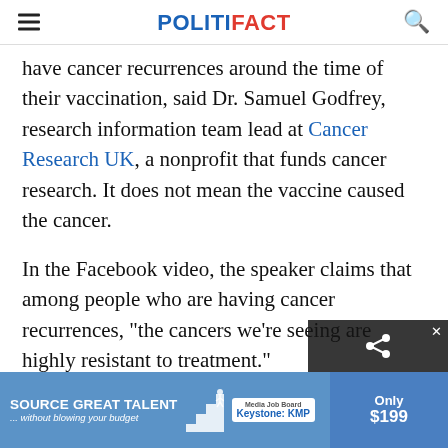POLITIFACT
have cancer recurrences around the time of their vaccination, said Dr. Samuel Godfrey, research information team lead at Cancer Research UK, a nonprofit that funds cancer research. It does not mean the vaccine caused the cancer.
In the Facebook video, the speaker claims that among people who are having cancer recurrences, "the cancers we’re seeing are highly resistant to treatment."
But G
[Figure (other): Advertisement banner: SOURCE GREAT TALENT ...without blowing your budget, Media Job Board, Only $199]